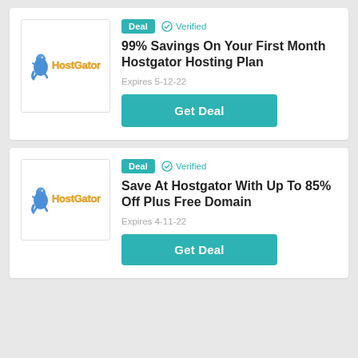[Figure (logo): HostGator logo with alligator mascot in yellow and blue on white background]
Deal
Verified
99% Savings On Your First Month Hostgator Hosting Plan
Expires 5-12-22
Get Deal
[Figure (logo): HostGator logo with alligator mascot in yellow and blue on white background]
Deal
Verified
Save At Hostgator With Up To 85% Off Plus Free Domain
Expires 4-11-22
Get Deal